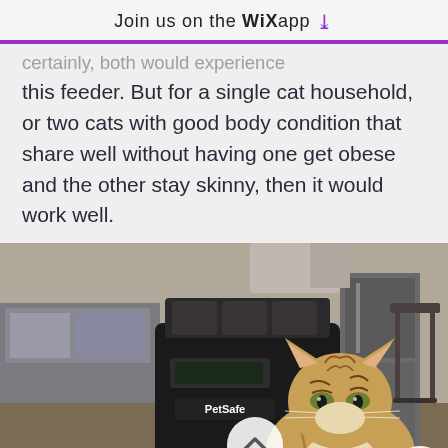Join us on the WiX app ↓
this feeder. But for a single cat household, or two cats with good body condition that share well without having one get obese and the other stay skinny, then it would work well.
[Figure (photo): A tabby cat sitting next to a black PetSafe automatic pet feeder on a wooden floor. A scroll-up button (chevron up) is overlaid on the lower left of the image, and a 'more' button (three dots) is on the lower right.]